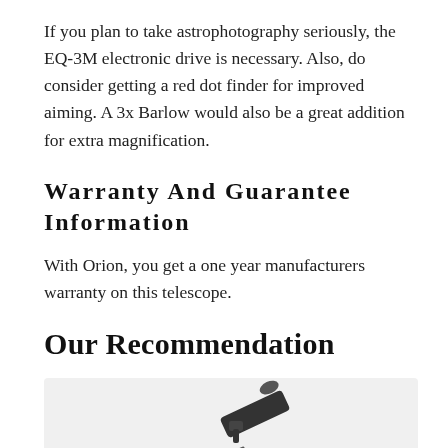If you plan to take astrophotography seriously, the EQ-3M electronic drive is necessary. Also, do consider getting a red dot finder for improved aiming. A 3x Barlow would also be a great addition for extra magnification.
Warranty And Guarantee Information
With Orion, you get a one year manufacturers warranty on this telescope.
Our Recommendation
[Figure (photo): A telescope (refractor style) on a mount, shown against a light grey background.]